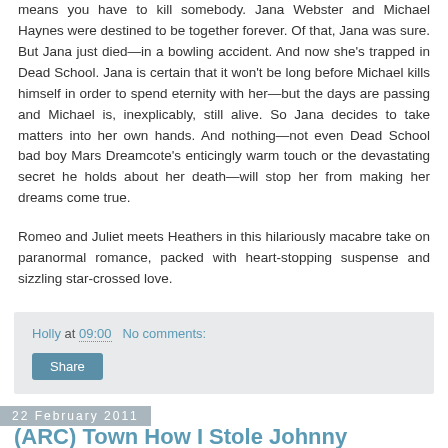means you have to kill somebody. Jana Webster and Michael Haynes were destined to be together forever. Of that, Jana was sure. But Jana just died—in a bowling accident. And now she's trapped in Dead School. Jana is certain that it won't be long before Michael kills himself in order to spend eternity with her—but the days are passing and Michael is, inexplicably, still alive. So Jana decides to take matters into her own hands. And nothing—not even Dead School bad boy Mars Dreamcote's enticingly warm touch or the devastating secret he holds about her death—will stop her from making her dreams come true.
Romeo and Juliet meets Heathers in this hilariously macabre take on paranormal romance, packed with heart-stopping suspense and sizzling star-crossed love.
Holly at 09:00   No comments:
Share
22 February 2011
(ARC) Town How I Stole Johnny